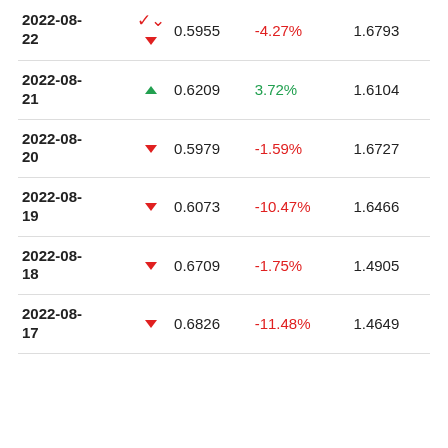| Date |  | Value | Change% | Last |
| --- | --- | --- | --- | --- |
| 2022-08-22 | ▼ | 0.5955 | -4.27% | 1.6793 |
| 2022-08-21 | ▲ | 0.6209 | 3.72% | 1.6104 |
| 2022-08-20 | ▼ | 0.5979 | -1.59% | 1.6727 |
| 2022-08-19 | ▼ | 0.6073 | -10.47% | 1.6466 |
| 2022-08-18 | ▼ | 0.6709 | -1.75% | 1.4905 |
| 2022-08-17 | ▼ | 0.6826 | -11.48% | 1.4649 |